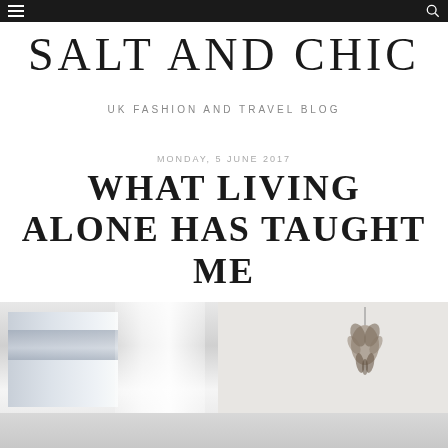SALT AND CHIC
UK FASHION AND TRAVEL BLOG
MONDAY, 5 JUNE 2017
WHAT LIVING ALONE HAS TAUGHT ME
[Figure (photo): Interior room photo showing a window with sheer white curtains and roller blinds on the left, a white wall on the right with a decorative dried flower or bird ornament hanging on it, and a fabric or furniture piece partially visible at the bottom.]